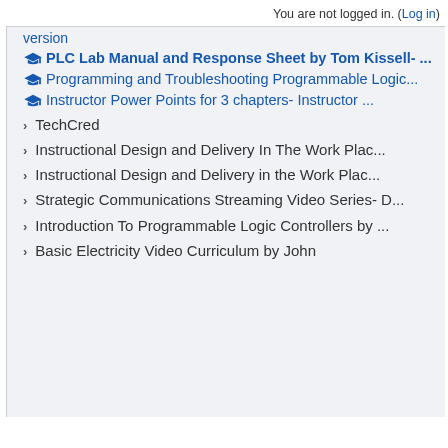You are not logged in. (Log in)
version
🎓 PLC Lab Manual and Response Sheet by Tom Kissell- ...
🎓 Programming and Troubleshooting Programmable Logic...
🎓 Instructor Power Points for 3 chapters- Instructor ...
TechCred
Instructional Design and Delivery In The Work Plac...
Instructional Design and Delivery in the Work Plac...
Strategic Communications Streaming Video Series- D...
Introduction To Programmable Logic Controllers by ...
Basic Electricity Video Curriculum by John